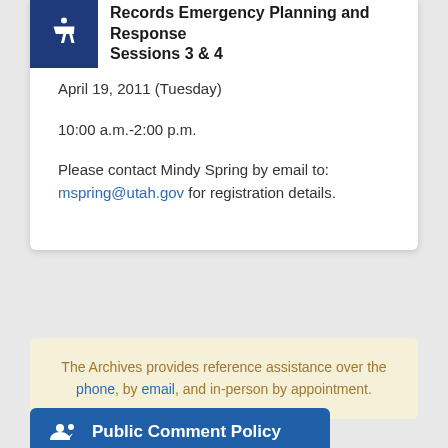Records Emergency Planning and Response Sessions 3 & 4
April 19, 2011 (Tuesday)
10:00 a.m.-2:00 p.m.
Please contact Mindy Spring by email to: mspring@utah.gov for registration details.
The Archives provides reference assistance over the phone, by email, and in-person by appointment.
Public Comment Policy